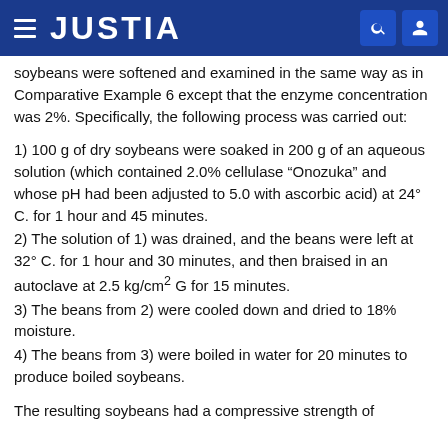JUSTIA
soybeans were softened and examined in the same way as in Comparative Example 6 except that the enzyme concentration was 2%. Specifically, the following process was carried out:
1) 100 g of dry soybeans were soaked in 200 g of an aqueous solution (which contained 2.0% cellulase “Onozuka” and whose pH had been adjusted to 5.0 with ascorbic acid) at 24° C. for 1 hour and 45 minutes.
2) The solution of 1) was drained, and the beans were left at 32° C. for 1 hour and 30 minutes, and then braised in an autoclave at 2.5 kg/cm² G for 15 minutes.
3) The beans from 2) were cooled down and dried to 18% moisture.
4) The beans from 3) were boiled in water for 20 minutes to produce boiled soybeans.
The resulting soybeans had a compressive strength of